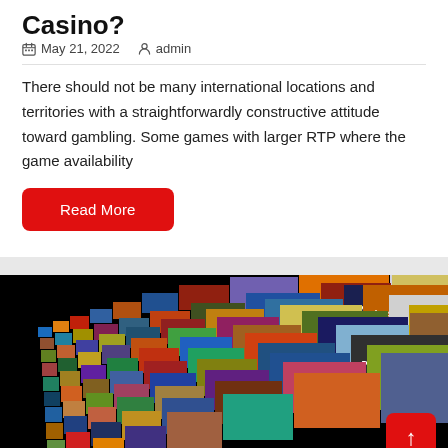Casino?
May 21, 2022   admin
There should not be many international locations and territories with a straightforwardly constructive attitude toward gambling. Some games with larger RTP where the game availability
Read More
[Figure (photo): A perspective wall of movie/TV show poster thumbnails receding into the distance on a black background, showing titles including X-Men 3, Prison Break, and others in a video-on-demand style display.]